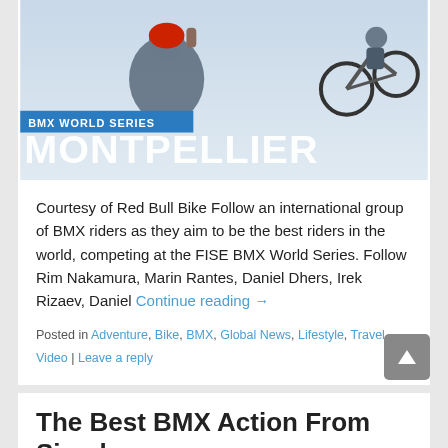[Figure (photo): BMX World Series Montpellier promotional image. A BMX rider celebrating with fist raised left, wearing a Red Bull helmet. Another rider performing an aerial trick on a BMX bike upper right. White background. Blue banner reads 'BMX WORLD SERIES' and large white text reads 'MONTPELLIER'.]
Courtesy of Red Bull Bike Follow an international group of BMX riders as they aim to be the best riders in the world, competing at the FISE BMX World Series. Follow Rim Nakamura, Marin Rantes, Daniel Dhers, Irek Rizaev, Daniel Continue reading →
Posted in Adventure, Bike, BMX, Global News, Lifestyle, Travel, Video | Leave a reply
The Best BMX Action From Simple